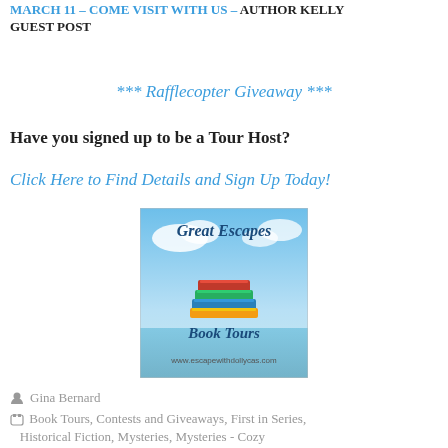MARCH 11 – COME VISIT WITH US – AUTHOR KELLY GUEST POST
*** Rafflecopter Giveaway ***
Have you signed up to be a Tour Host?
Click Here to Find Details and Sign Up Today!
[Figure (logo): Great Escapes Book Tours logo with stacked colorful books on a beach/ocean background. URL: www.escapewithdollycas.com]
Gina Bernard
Book Tours, Contests and Giveaways, First in Series, Historical Fiction, Mysteries, Mysteries - Cozy